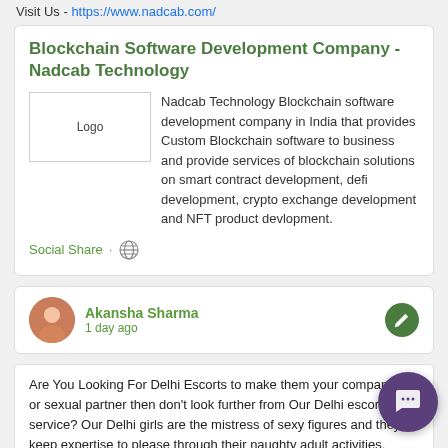Visit Us - https://www.nadcab.com/
Blockchain Software Development Company - Nadcab Technology
[Figure (logo): Logo placeholder image]
Nadcab Technology Blockchain software development company in India that provides Custom Blockchain software to business and provide services of blockchain solutions on smart contract development, defi development, crypto exchange development and NFT product devlopment.
Social Share · [globe icon]
Akansha Sharma
1 day ago
Are You Looking For Delhi Escorts to make them your companion or sexual partner then don't look further from Our Delhi escort service? Our Delhi girls are the mistress of sexy figures and they keep expertise to please through their naughty adult activities.
These girls keep a specialty in their work and behaviors which make people fall